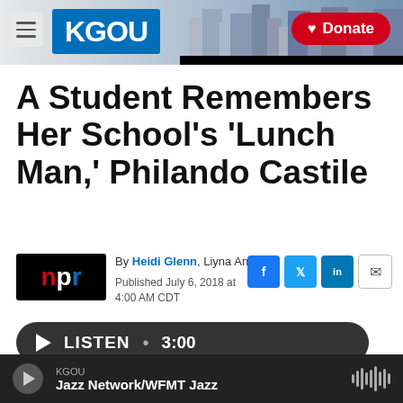KGOU — Donate
A Student Remembers Her School's 'Lunch Man,' Philando Castile
By Heidi Glenn, Liyna Anwar
Published July 6, 2018 at 4:00 AM CDT
[Figure (logo): NPR logo — red N, white p, blue r on black background]
LISTEN • 3:00
KGOU
Jazz Network/WFMT Jazz